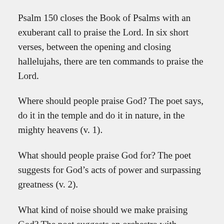Psalm 150 closes the Book of Psalms with an exuberant call to praise the Lord. In six short verses, between the opening and closing hallelujahs, there are ten commands to praise the Lord.
Where should people praise God? The poet says, do it in the temple and do it in nature, in the mighty heavens (v. 1).
What should people praise God for? The poet suggests for God’s acts of power and surpassing greatness (v. 2).
What kind of noise should we make praising God? The poet suggests an orchestra with stringed instruments and in…